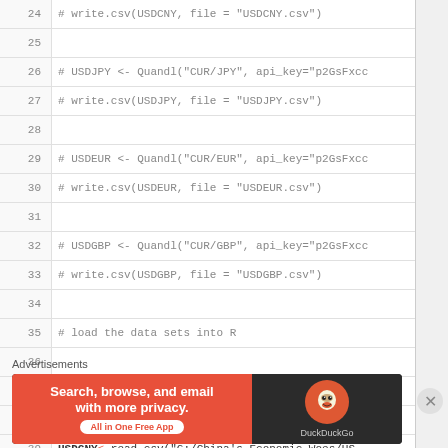Code snippet lines 24-39: R code for currency data loading
[Figure (screenshot): Code editor showing R script lines 24-39 with commented-out Quandl API calls for USDJPY, USDEUR, USDGBP and active read.csv calls for USDCHF, USDCNY]
Advertisements
[Figure (other): DuckDuckGo advertisement banner: Search, browse, and email with more privacy. All in One Free App]